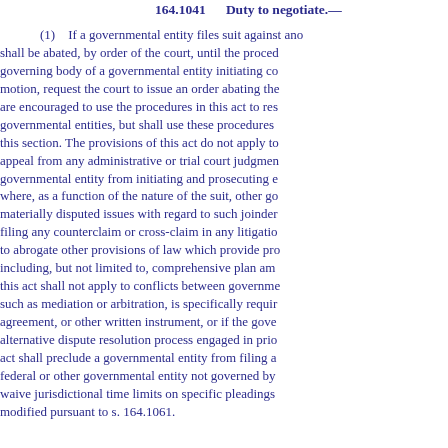164.1041     Duty to negotiate.—
(1)    If a governmental entity files suit against ano shall be abated, by order of the court, until the proced governing body of a governmental entity initiating co motion, request the court to issue an order abating the are encouraged to use the procedures in this act to res governmental entities, but shall use these procedures this section. The provisions of this act do not apply to appeal from any administrative or trial court judgmen governmental entity from initiating and prosecuting e where, as a function of the nature of the suit, other go materially disputed issues with regard to such joinder filing any counterclaim or cross-claim in any litigatio to abrogate other provisions of law which provide pro including, but not limited to, comprehensive plan am this act shall not apply to conflicts between governme such as mediation or arbitration, is specifically requir agreement, or other written instrument, or if the gove alternative dispute resolution process engaged in prio act shall preclude a governmental entity from filing a federal or other governmental entity not governed by waive jurisdictional time limits on specific pleadings modified pursuant to s. 164.1061.